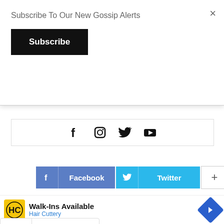×
Subscribe To Our New Gossip Alerts
Subscribe
[Figure (infographic): Social media icons row: Facebook, Instagram, Twitter, YouTube inside a bordered box]
[Figure (infographic): Share buttons row: Facebook (blue), Twitter (light blue), plus (+) button]
LATEST NEWS
Delightful Gossip
[Figure (infographic): Advertisement banner for Hair Cuttery - Walk-Ins Available]